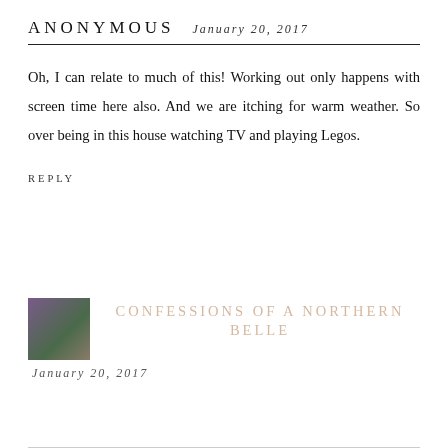ANONYMOUS   JANUARY 20, 2017
Oh, I can relate to much of this! Working out only happens with screen time here also. And we are itching for warm weather. So over being in this house watching TV and playing Legos.
REPLY
[Figure (photo): Small avatar photo of a person in a purple/blue outfit outdoors]
CONFESSIONS OF A NORTHERN BELLE
JANUARY 20, 2017